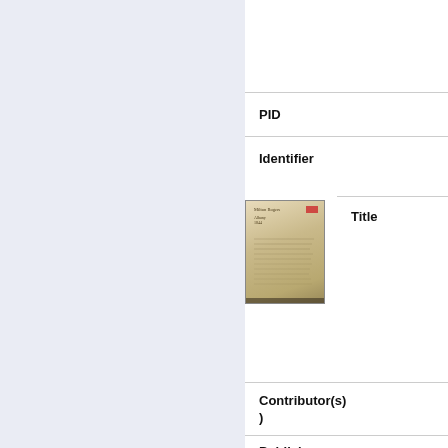[Figure (other): Left navigation/sidebar panel with light blue-grey background]
PID
Identifier
[Figure (photo): Thumbnail of an aged handwritten document, yellowed paper with cursive text and a small red label in upper right corner]
Title
Contributor(s)
Publisher